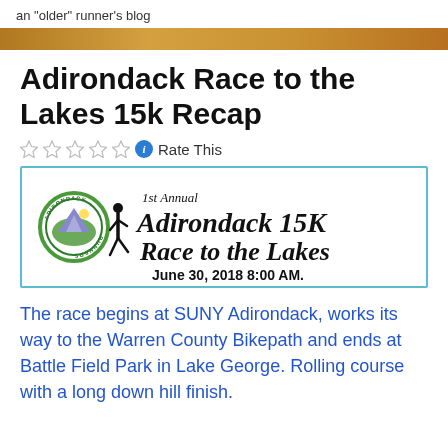an "older" runner's blog
Adirondack Race to the Lakes 15k Recap
[Figure (illustration): Race banner for 1st Annual Adirondack 15K Race to the Lakes, June 30, 2018 8:00 AM, with Adirondack Runners logo and runner silhouette]
The race begins at SUNY Adirondack, works its way to the Warren County Bikepath and ends at Battle Field Park in Lake George. Rolling course with a long down hill finish.